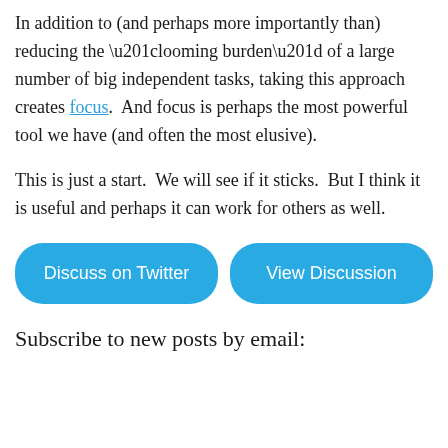In addition to (and perhaps more importantly than) reducing the “looming burden” of a large number of big independent tasks, taking this approach creates focus.  And focus is perhaps the most powerful tool we have (and often the most elusive).
This is just a start.  We will see if it sticks.  But I think it is useful and perhaps it can work for others as well.
[Figure (other): Two blue rounded-rectangle buttons side by side: 'Discuss on Twitter' and 'View Discussion']
Subscribe to new posts by email: